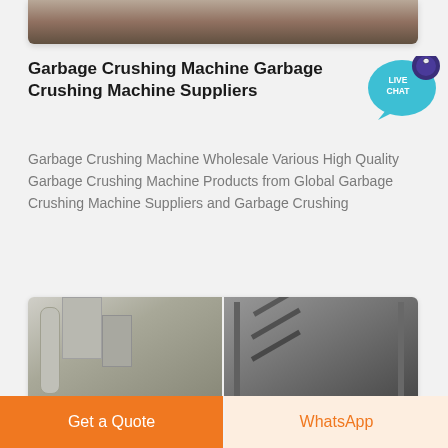[Figure (photo): Top portion of an industrial/construction site photo showing machinery and a worker in orange, partially cropped card at top of page.]
Garbage Crushing Machine Garbage Crushing Machine Suppliers
[Figure (illustration): Live Chat speech bubble badge icon in teal/purple colors with text LIVE CHAT]
Garbage Crushing Machine Wholesale Various High Quality Garbage Crushing Machine Products from Global Garbage Crushing Machine Suppliers and Garbage Crushing
[Figure (photo): Two industrial facility photos side by side showing large machinery/equipment in a warehouse/factory setting — left shows ductwork and metal panels, right shows structural steel framing.]
Get a Quote
WhatsApp